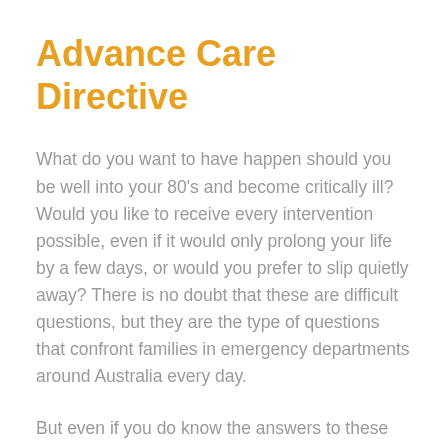Advance Care Directive
What do you want to have happen should you be well into your 80's and become critically ill? Would you like to receive every intervention possible, even if it would only prolong your life by a few days, or would you prefer to slip quietly away? There is no doubt that these are difficult questions, but they are the type of questions that confront families in emergency departments around Australia every day.
But even if you do know the answers to these